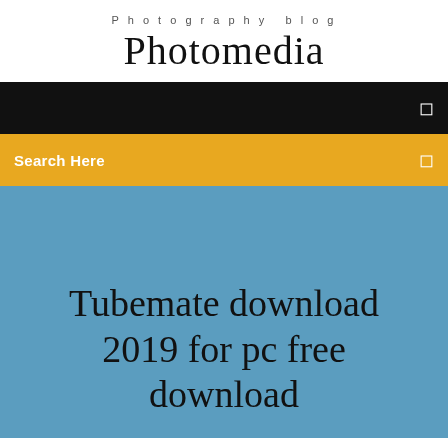Photography blog
Photomedia
[Figure (screenshot): Black navigation bar with a small icon on the right]
[Figure (screenshot): Yellow/amber search bar with 'Search Here' text on the left and a small icon on the right]
Tubemate download 2019 for pc free download